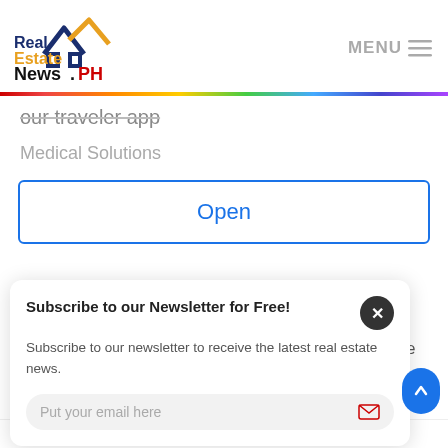[Figure (logo): RealEstateNews.PH logo with house icon]
MENU
our traveler app
Medical Solutions
Open
Subscribe to our Newsletter for Free!
Subscribe to our newsletter to receive the latest real estate news.
Put your email here
oup, since
Under its comprehensive plan, VREIT will also focus on